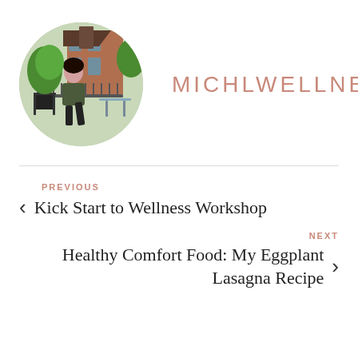[Figure (photo): Circular profile photo of a woman standing on a balcony with trees and brick buildings in the background]
MICHLWELLNESS
PREVIOUS
< Kick Start to Wellness Workshop
NEXT
Healthy Comfort Food: My Eggplant Lasagna Recipe >